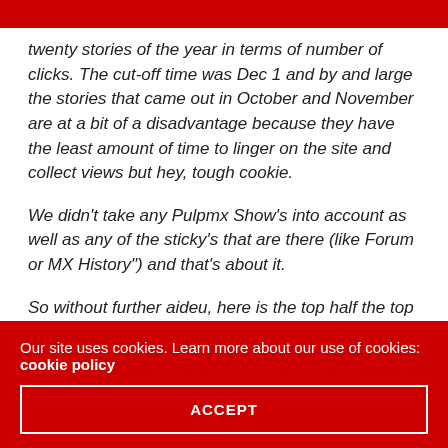twenty stories of the year in terms of number of clicks. The cut-off time was Dec 1 and by and large the stories that came out in October and November are at a bit of a disadvantage because they have the least amount of time to linger on the site and collect views but hey, tough cookie.
We didn’t take any Pulpmx Show’s into account as well as any of the sticky’s that are there (like Forum or MX History”) and that’s about it.
So without further aideu, here is the top half the top 21 of 2012 on Pulpmx.com
Our site uses cookies. Learn more about our use of cookies: cookie policy
ACCEPT